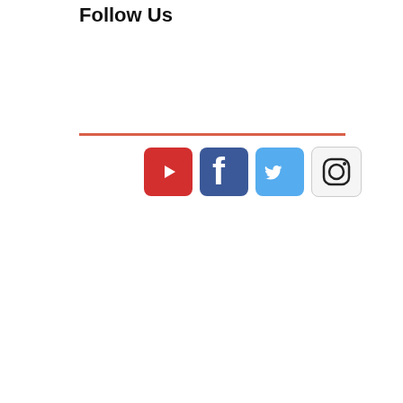Follow Us
[Figure (illustration): Horizontal colored divider line (salmon/terracotta color) above a row of four social media icons: YouTube (red), Facebook (blue), Twitter (light blue), Instagram (light gray/white with outline icon)]